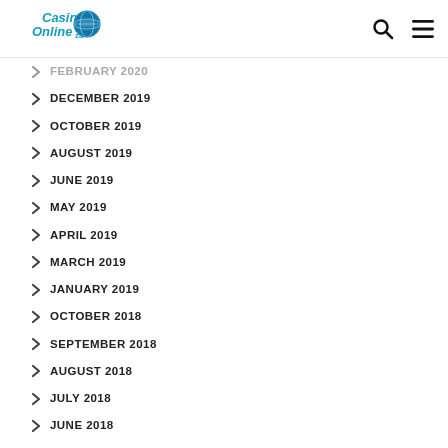Casino Online ZA — navigation header
FEBRUARY 2020 (partial)
DECEMBER 2019
OCTOBER 2019
AUGUST 2019
JUNE 2019
MAY 2019
APRIL 2019
MARCH 2019
JANUARY 2019
OCTOBER 2018
SEPTEMBER 2018
AUGUST 2018
JULY 2018
JUNE 2018